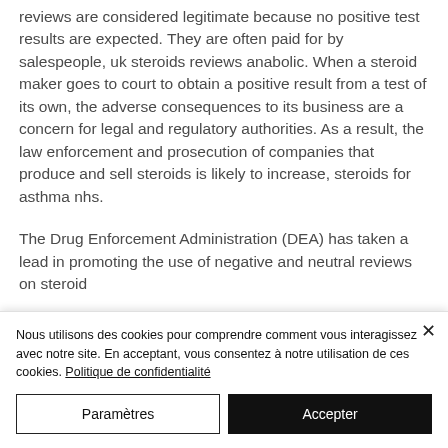reviews are considered legitimate because no positive test results are expected. They are often paid for by salespeople, uk steroids reviews anabolic. When a steroid maker goes to court to obtain a positive result from a test of its own, the adverse consequences to its business are a concern for legal and regulatory authorities. As a result, the law enforcement and prosecution of companies that produce and sell steroids is likely to increase, steroids for asthma nhs.
The Drug Enforcement Administration (DEA) has taken a lead in promoting the use of negative and neutral reviews on steroid
Nous utilisons des cookies pour comprendre comment vous interagissez avec notre site. En acceptant, vous consentez à notre utilisation de ces cookies. Politique de confidentialité